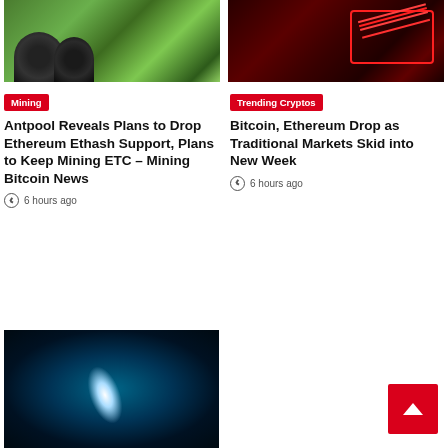[Figure (illustration): Cartoon illustration of ant-like characters in a green grassy field]
[Figure (photo): Dark red-toned image of a stock chart with red line graph declining, gold coins in background]
Mining
Antpool Reveals Plans to Drop Ethereum Ethash Support, Plans to Keep Mining ETC – Mining Bitcoin News
6 hours ago
Trending Cryptos
Bitcoin, Ethereum Drop as Traditional Markets Skid into New Week
6 hours ago
[Figure (illustration): Space-themed illustration with bright light beam and floating crystals on dark blue background]